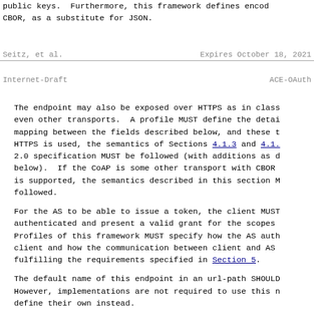public keys.  Furthermore, this framework defines encod CBOR, as a substitute for JSON.
Seitz, et al.                    Expires October 18, 2021
Internet-Draft                              ACE-OAuth
The endpoint may also be exposed over HTTPS as in class even other transports.  A profile MUST define the detai mapping between the fields described below, and these t HTTPS is used, the semantics of Sections 4.1.3 and 4.1. 2.0 specification MUST be followed (with additions as d below).  If the CoAP is some other transport with CBOR is supported, the semantics described in this section M followed.
For the AS to be able to issue a token, the client MUST authenticated and present a valid grant for the scopes Profiles of this framework MUST specify how the AS auth client and how the communication between client and AS fulfilling the requirements specified in Section 5.
The default name of this endpoint in an url-path SHOULD However, implementations are not required to use this n define their own instead.